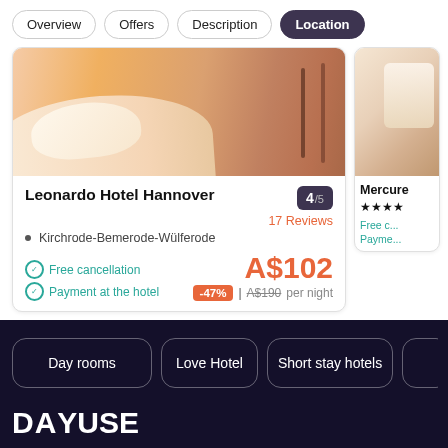Overview | Offers | Description | Location
[Figure (photo): Hotel room photo showing a bed with pillows and a chair in background]
Leonardo Hotel Hannover  4/5  17 Reviews
• Kirchrode-Bemerode-Wülferode
Free cancellation
Payment at the hotel
A$102  -47% | A$190 per night
[Figure (photo): Partial hotel card showing Mercure hotel with stars]
Day rooms | Love Hotel | Short stay hotels | (partial button)
DAYUSE